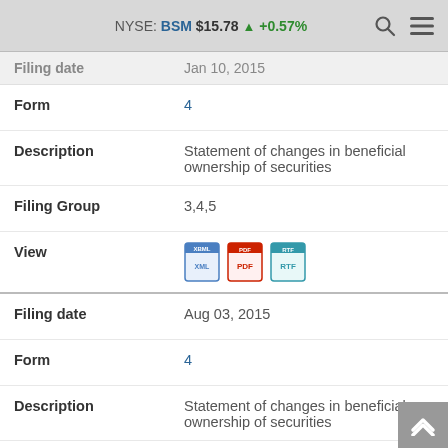NYSE: BSM $15.78 ▲ +0.57%
| Field | Value |
| --- | --- |
| Filing date | Jan 10, 2015 |
| Form | 4 |
| Description | Statement of changes in beneficial ownership of securities |
| Filing Group | 3,4,5 |
| View | [XBML] [PDF] [RTF] |
| Filing date | Aug 03, 2015 |
| Form | 4 |
| Description | Statement of changes in beneficial ownership of securities |
| Filing Group | 3,4,5 |